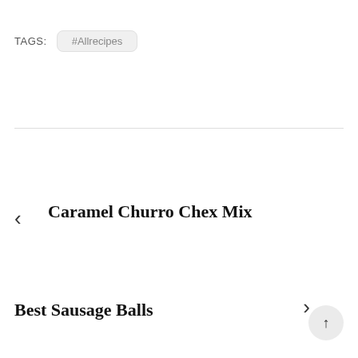TAGS: #Allrecipes
< Caramel Churro Chex Mix
Best Sausage Balls >